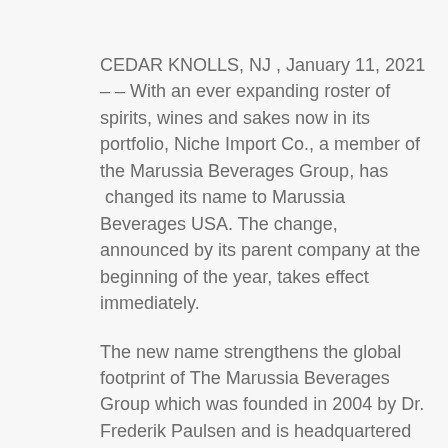CEDAR KNOLLS, NJ , January 11, 2021 – – With an ever expanding roster of spirits, wines and sakes now in its portfolio, Niche Import Co., a member of the Marussia Beverages Group, has  changed its name to Marussia Beverages USA. The change, announced by its parent company at the beginning of the year, takes effect immediately.
The new name strengthens the global footprint of The Marussia Beverages Group which was founded in 2004 by Dr. Frederik Paulsen and is headquartered in The Netherlands. Today the Marussia Beverages Group includes nearly 1,000 employees in 10 core markets serving importers in 40 countries.
“It has long been our mission to build and develop distribution channels in the highly lucrative U.S. market that can pave the way for high quality imported brands,”